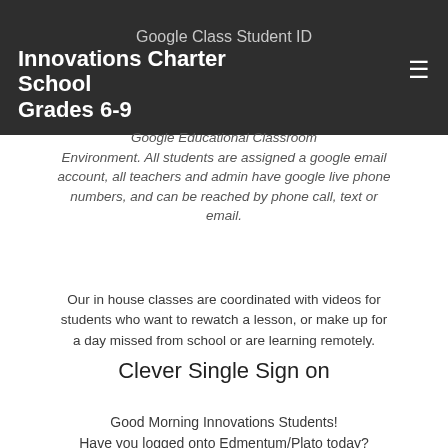Google Class Student ID
Innovations Charter School
Grades 6-9
Google Educational Classroom Environment. All students are assigned a google email account, all teachers and admin have google live phone numbers, and can be reached by phone call, text or email.
Our in house classes are coordinated with videos for students who want to rewatch a lesson, or make up for a day missed from school or are learning remotely.
Clever Single Sign on
Good Morning Innovations Students!
Have you logged onto Edmentum/Plato today?